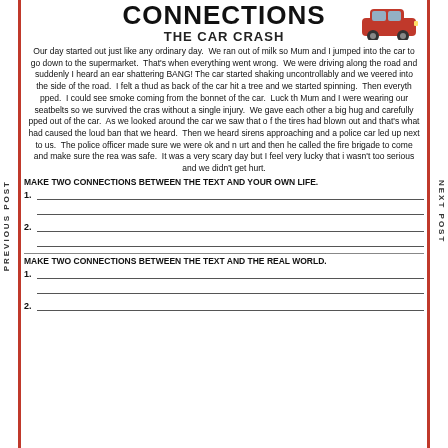CONNECTIONS
THE CAR CRASH
Our day started out just like any ordinary day. We ran out of milk so Mum and I jumped into the car to go down to the supermarket. That's when everything went wrong. We were driving along the road and suddenly I heard an ear shattering BANG! The car started shaking uncontrollably and we veered into the side of the road. I felt a thud as back of the car hit a tree and we started spinning. Then everyth pped. I could see smoke coming from the bonnet of the car. Luck th Mum and I were wearing our seatbelts so we survived the cras without a single injury. We gave each other a big hug and carefully pped out of the car. As we looked around the car we saw that o f the tires had blown out and that's what had caused the loud ban that we heard. Then we heard sirens approaching and a police car led up next to us. The police officer made sure we were ok and n urt and then he called the fire brigade to come and make sure the rea was safe. It was a very scary day but I feel very lucky that i wasn't too serious and we didn't get hurt.
MAKE TWO CONNECTIONS BETWEEN THE TEXT AND YOUR OWN LIFE.
1.
2.
MAKE TWO CONNECTIONS BETWEEN THE TEXT AND THE REAL WORLD.
1.
2.